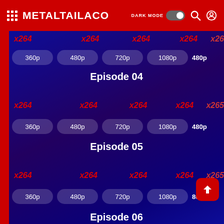METALTAILACO — DARK MODE toggle, search, user icons
x264 x264 x264 x264 x265 (codec row, truncated)
360p 480p 720p 1080p 480p (resolution row, truncated)
Episode 04
x264 x264 x264 x264 x265 (codec row)
360p 480p 720p 1080p 480p (resolution row)
Episode 05
x264 x264 x264 x264 x265 (codec row)
360p 480p 720p 1080p 80p (resolution row, truncated)
Episode 06 (partial, bottom)